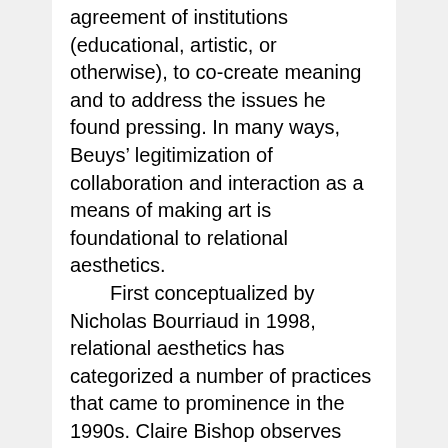agreement of institutions (educational, artistic, or otherwise), to co-create meaning and to address the issues he found pressing. In many ways, Beuys' legitimization of collaboration and interaction as a means of making art is foundational to relational aesthetics.
	First conceptualized by Nicholas Bourriaud in 1998, relational aesthetics has categorized a number of practices that came to prominence in the 1990s. Claire Bishop observes that these practices tend to involve hybrid installations in which the audience is invited to engage in some form of activity that defines a space reserved for relating socially. For Bishop, artists who work with relational aesthetics, such as Rirkrit Tiravanija and Liam Gillick, offer a “microtopian ethos” in lieu of “utopian propositions,” where the space of the gallery delimits a social setting in which